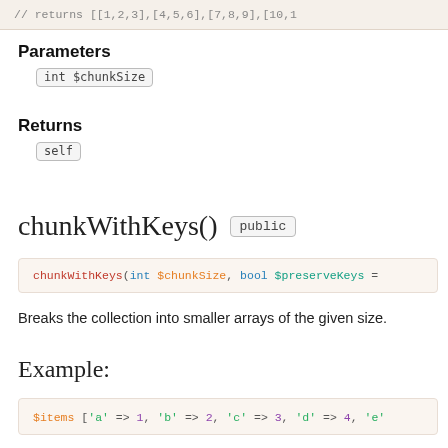[Figure (screenshot): Top clipped code snippet showing array return values]
Parameters
int $chunkSize
Returns
self
chunkWithKeys()  public
[Figure (screenshot): Code signature: chunkWithKeys(int $chunkSize, bool $preserveKeys =]
Breaks the collection into smaller arrays of the given size.
Example:
[Figure (screenshot): Code example: $items ['a' => 1, 'b' => 2, 'c' => 3, 'd' => 4, 'e']